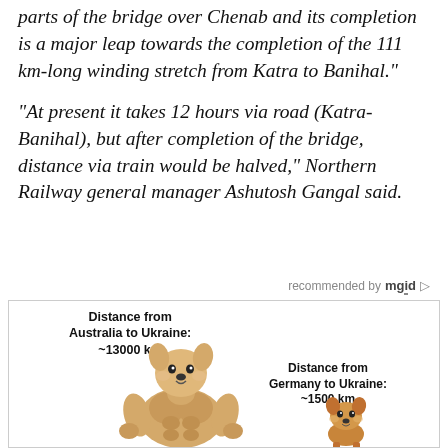"The Arch closure was one of the most difficult parts of the bridge over Chenab and its completion is a major leap towards the completion of the 111 km-long winding stretch from Katra to Banihal."
"At present it takes 12 hours via road (Katra-Banihal), but after completion of the bridge, distance via train would be halved," Northern Railway general manager Ashutosh Gangal said.
recommended by mgid
[Figure (infographic): Meme infographic comparing Distance from Australia to Ukraine: ~13000 km (shown with large muscular Doge dog) and Distance from Germany to Ukraine: ~1500 km (shown with small normal Shiba Inu dog)]